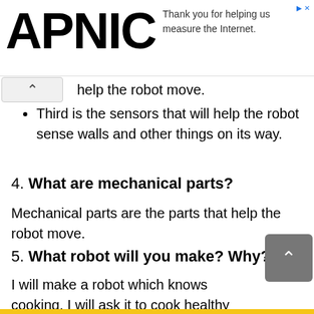[Figure (logo): APNIC logo in large bold black text on the left side of the ad banner]
Thank you for helping us measure the Internet.
help the robot move.
Third is the sensors that will help the robot sense walls and other things on its way.
4. What are mechanical parts?
Mechanical parts are the parts that help the robot move.
5. What robot will you make? Why?
I will make a robot which knows cooking. I will ask it to cook healthy foods with good hygiene and taste.